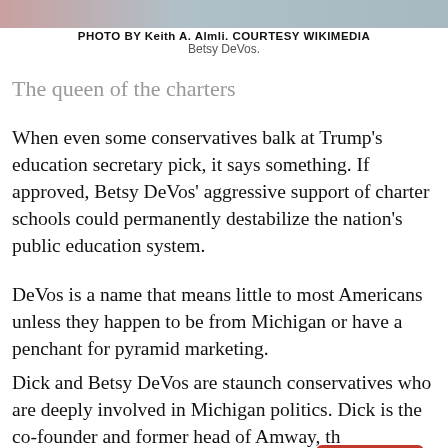[Figure (photo): Cropped photo strip at top of page showing partial image of Betsy DeVos]
PHOTO BY Keith A. Almli. COURTESY WIKIMEDIA
Betsy DeVos.
The queen of the charters
When even some conservatives balk at Trump's education secretary pick, it says something. If approved, Betsy DeVos' aggressive support of charter schools could permanently destabilize the nation's public education system.
DeVos is a name that means little to most Americans unless they happen to be from Michigan or have a penchant for pyramid marketing.
Dick and Betsy DeVos are staunch conservatives who are deeply involved in Michigan politics. Dick is the co-founder and former head of Amway, th[e multi-level] product marketing company.